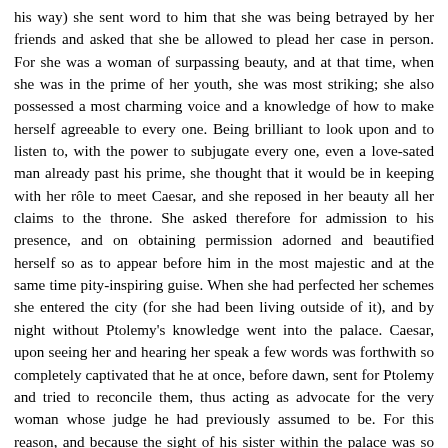his way) she sent word to him that she was being betrayed by her friends and asked that she be allowed to plead her case in person. For she was a woman of surpassing beauty, and at that time, when she was in the prime of her youth, she was most striking; she also possessed a most charming voice and a knowledge of how to make herself agreeable to every one. Being brilliant to look upon and to listen to, with the power to subjugate every one, even a love-sated man already past his prime, she thought that it would be in keeping with her rôle to meet Caesar, and she reposed in her beauty all her claims to the throne. She asked therefore for admission to his presence, and on obtaining permission adorned and beautified herself so as to appear before him in the most majestic and at the same time pity-inspiring guise. When she had perfected her schemes she entered the city (for she had been living outside of it), and by night without Ptolemy's knowledge went into the palace. Caesar, upon seeing her and hearing her speak a few words was forthwith so completely captivated that he at once, before dawn, sent for Ptolemy and tried to reconcile them, thus acting as advocate for the very woman whose judge he had previously assumed to be. For this reason, and because the sight of his sister within the palace was so unexpected, the boy was filled with wrath and rushed out among the people crying out that he was being betrayed, and at last he tore the diadem from his head and cast it away. In the great tumult which thereupon arose Caesar's troops seized the person of the prince and the Egyptian populace